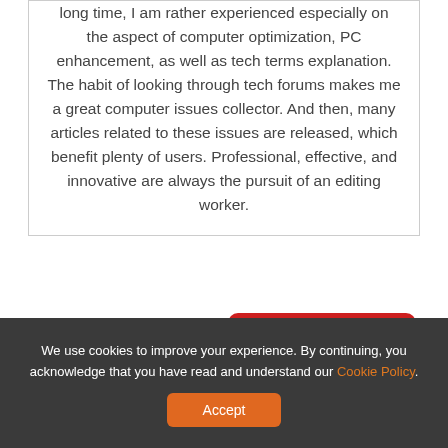long time, I am rather experienced especially on the aspect of computer optimization, PC enhancement, as well as tech terms explanation. The habit of looking through tech forums makes me a great computer issues collector. And then, many articles related to these issues are released, which benefit plenty of users. Professional, effective, and innovative are always the pursuit of an editing worker.
User Comments :
0 Comments
We use cookies to improve your experience. By continuing, you acknowledge that you have read and understand our Cookie Policy.
Accept